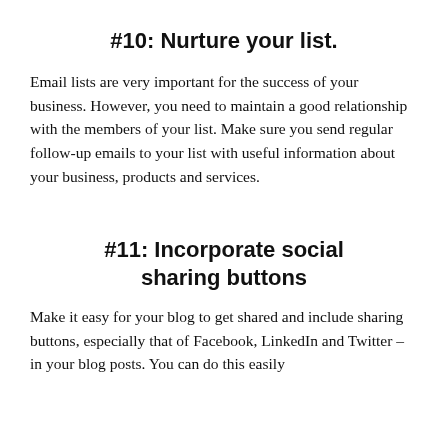#10: Nurture your list.
Email lists are very important for the success of your business. However, you need to maintain a good relationship with the members of your list. Make sure you send regular follow-up emails to your list with useful information about your business, products and services.
#11: Incorporate social sharing buttons
Make it easy for your blog to get shared and include sharing buttons, especially that of Facebook, LinkedIn and Twitter – in your blog posts. You can do this easily